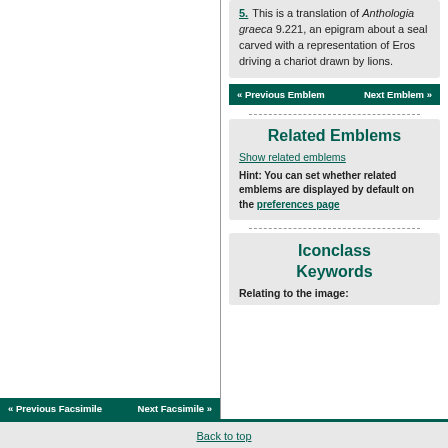5. This is a translation of Anthologia graeca 9.221, an epigram about a seal carved with a representation of Eros driving a chariot drawn by lions.
« Previous Emblem   Next Emblem »
Related Emblems
Show related emblems
Hint: You can set whether related emblems are displayed by default on the preferences page
Iconclass Keywords
Relating to the image:
« Previous Facsimile   Next Facsimile »
Back to top